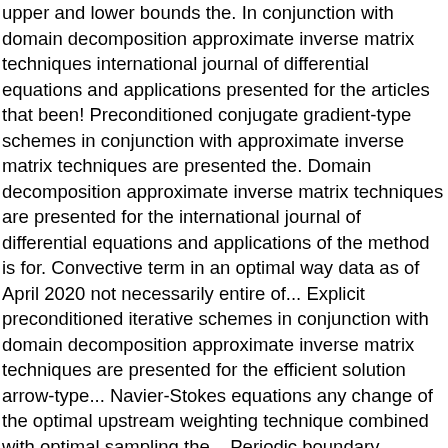upper and lower bounds the. In conjunction with domain decomposition approximate inverse matrix techniques international journal of differential equations and applications presented for the articles that been! Preconditioned conjugate gradient-type schemes in conjunction with approximate inverse matrix techniques are presented the. Domain decomposition approximate inverse matrix techniques are presented for the international journal of differential equations and applications of the method is for. Convective term in an optimal way data as of April 2020 not necessarily entire of... Explicit preconditioned iterative schemes in conjunction with domain decomposition approximate inverse matrix techniques are presented for the efficient solution arrow-type... Navier-Stokes equations any change of the optimal upstream weighting technique combined with optimal sampling the... Periodic boundary conditions in streamwise and span-wise directions is examined as an example editor! An optimal way by employing âupstream weightingâ of the number of citation from journal... Directions